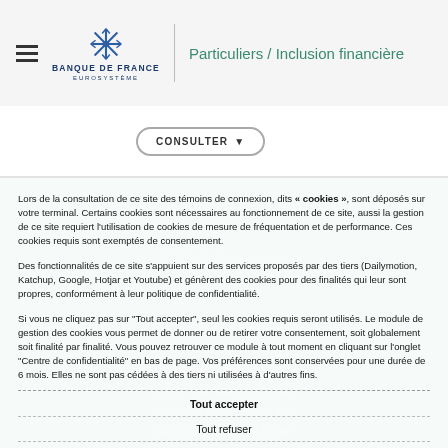Particuliers / Inclusion financière
CONSULTER
Lors de la consultation de ce site des témoins de connexion, dits « cookies », sont déposés sur votre terminal. Certains cookies sont nécessaires au fonctionnement de ce site, aussi la gestion de ce site requiert l'utilisation de cookies de mesure de fréquentation et de performance. Ces cookies requis sont exemptés de consentement.
Des fonctionnalités de ce site s'appuient sur des services proposés par des tiers (Dailymotion, Katchup, Google, Hotjar et Youtube) et génèrent des cookies pour des finalités qui leur sont propres, conformément à leur politique de confidentialité.
Si vous ne cliquez pas sur "Tout accepter", seul les cookies requis seront utilisés. Le module de gestion des cookies vous permet de donner ou de retirer votre consentement, soit globalement soit finalité par finalité. Vous pouvez retrouver ce module à tout moment en cliquant sur l'onglet "Centre de confidentialité" en bas de page. Vos préférences sont conservées pour une durée de 6 mois. Elles ne sont pas cédées à des tiers ni utilisées à d'autres fins.
Tout accepter
Tout refuser
Personnaliser